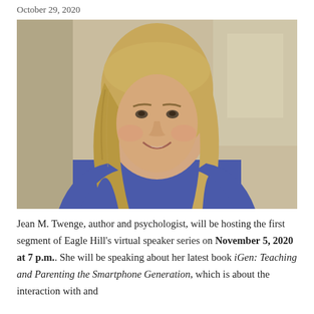October 29, 2020
[Figure (photo): Portrait photo of Jean M. Twenge, a woman with long blonde hair, smiling, wearing a blue sleeveless top, against a blurred indoor background.]
Jean M. Twenge, author and psychologist, will be hosting the first segment of Eagle Hill's virtual speaker series on November 5, 2020 at 7 p.m.. She will be speaking about her latest book iGen: Teaching and Parenting the Smartphone Generation, which is about the interaction with and